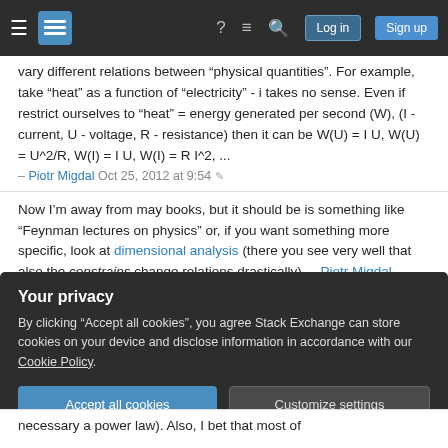Stack Exchange navigation bar with hamburger menu, logo, help, chat, search icons, Log in and Sign up buttons
vary different relations between "physical quantities". For example, take "heat" as a function of "electricity" - i takes no sense. Even if restrict ourselves to "heat" = energy generated per second (W), (I - current, U - voltage, R - resistance) then it can be W(U) = I U, W(U) = U^2/R, W(I) = I U, W(I) = R I^2, ...
– Piotr Migdal Oct 25, 2012 at 9:54 ✏
Now I'm away from may books, but it should be is something like "Feynman lectures on physics" or, if you want something more specific, look at dimensional analysis (there you see very well that also the constrains change relations drastically). – Piotr Migdal Oct 25, 2012 at 9:58
Your privacy
By clicking "Accept all cookies", you agree Stack Exchange can store cookies on your device and disclose information in accordance with our Cookie Policy.
Accept all cookies | Customize settings
necessary a power law). Also, I bet that most of